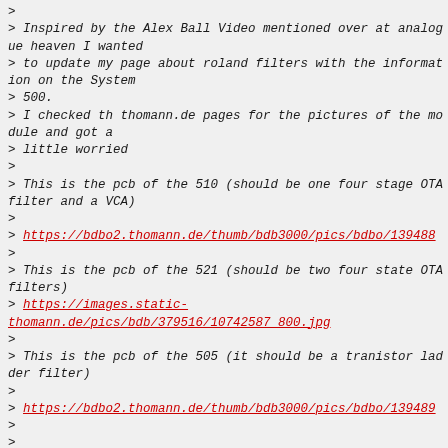>
> Inspired by the Alex Ball Video mentioned over at analogue heaven I wanted
> to update my page about roland filters with the information on the System
> 500.
> I checked th thomann.de pages for the pictures of the module and got a
> little worried
>
> This is the pcb of the 510 (should be one four stage OTA filter and a VCA)
>
> https://bdbo2.thomann.de/thumb/bdb3000/pics/bdbo/139488
>
> This is the pcb of the 521 (should be two four state OTA filters)
> https://images.static-thomann.de/pics/bdb/379516/10742587_800.jpg
>
> This is the pcb of the 505 (it should be a tranistor ladder filter)
>
> https://bdbo2.thomann.de/thumb/bdb3000/pics/bdbo/139489
>
>
>
> The pcb of the 505 is full of LM37000, while there is no OTA in the
> original Circuit.